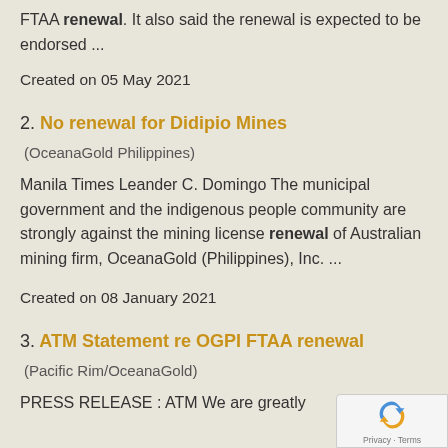FTAA renewal. It also said the renewal is expected to be endorsed ...
Created on 05 May 2021
2. No renewal for Didipio Mines
(OceanaGold Philippines)
Manila Times Leander C. Domingo The municipal government and the indigenous people community are strongly against the mining license renewal of Australian mining firm, OceanaGold (Philippines), Inc. ...
Created on 08 January 2021
3. ATM Statement re OGPI FTAA renewal
(Pacific Rim/OceanaGold)
PRESS RELEASE : ATM We are greatly